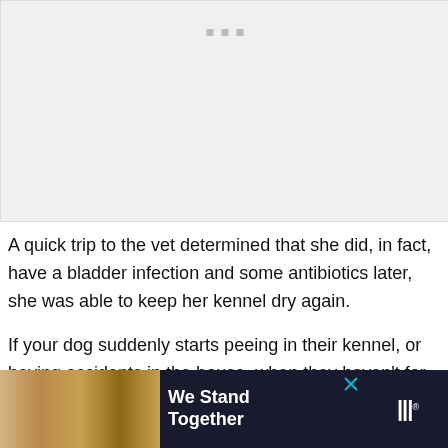[Figure (photo): Large image placeholder shown as light gray rectangle with three small square dots near the top center]
A quick trip to the vet determined that she did, in fact, have a bladder infection and some antibiotics later, she was able to keep her kennel dry again.
If your dog suddenly starts peeing in their kennel, or having accidents in the house, when they haven't for a long time, your nearest
[Figure (screenshot): Advertisement banner at the bottom: dark background with image of people with arms around each other on the left, bold white text 'We Stand Together' in center, and a logo on the right showing stylized text with superscript 2]